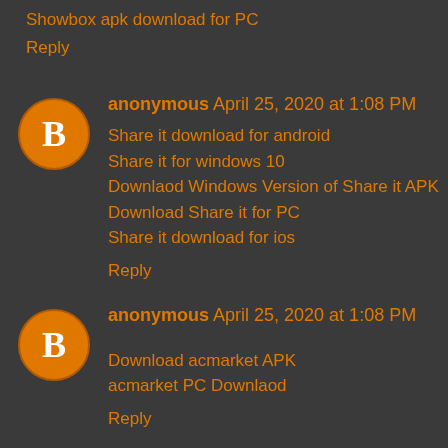Showbox apk download for PC
Reply
anonymous  April 25, 2020 at 1:08 PM
Share it download for android
Share it for windows 10
Downlaod Windows Version of Share it APK
Download Share it for PC
Share it download for ios
Reply
anonymous  April 25, 2020 at 1:08 PM
Download acmarket APK
acmarket PC Downlaod
Reply